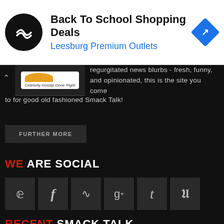[Figure (infographic): Advertisement banner: black circular logo with arrow icon, bold text 'Back To School Shopping Deals', blue subtext 'Leesburg Premium Outlets', blue diamond-shaped arrow icon on right]
regurgitated news blurbs - fresh, funny, and opinionated, this is the site you come to for good old fashioned Smack Talk!
FURTHER MORE
WE ARE SOCIAL
[Figure (infographic): Six social media icon boxes: Twitter (bird), Facebook (f), RSS (feed), Google+ (g+), Tumblr (t), Pinterest (p)]
RECENT SMACK TALK